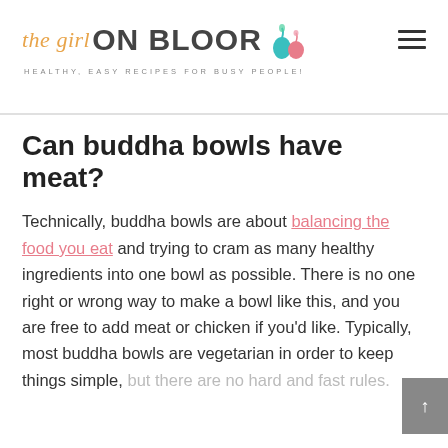the girl ON BLOOR — HEALTHY, EASY RECIPES FOR BUSY PEOPLE!
Can buddha bowls have meat?
Technically, buddha bowls are about balancing the food you eat and trying to cram as many healthy ingredients into one bowl as possible. There is no one right or wrong way to make a bowl like this, and you are free to add meat or chicken if you'd like. Typically, most buddha bowls are vegetarian in order to keep things simple, but there are no hard and fast rules.